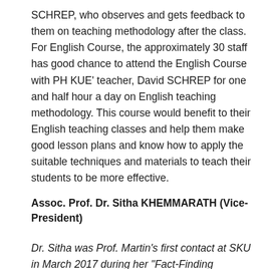SCHREP, who observes and gets feedback to them on teaching methodology after the class. For English Course, the approximately 30 staff has good chance to attend the English Course with PH KUE' teacher, David SCHREP for one and half hour a day on English teaching methodology. This course would benefit to their English teaching classes and help them make good lesson plans and know how to apply the suitable techniques and materials to teach their students to be more effective.
Assoc. Prof. Dr. Sitha KHEMMARATH (Vice-President)
Dr. Sitha was Prof. Martin's first contact at SKU in March 2017 during her "Fact-Finding Mission" through mid- and